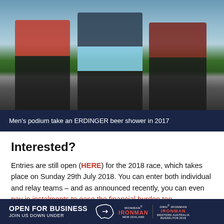[Figure (photo): Three male triathletes celebrating on podium, arms raised, with one drinking from a trophy. Outdoor event near a lake with spectators in background.]
Men's podium take an ERDINGER beer shower in 2017
Interested?
Entries are still open (HERE) for the 2018 race, which takes place on Sunday 29th July 2018. You can enter both individual and relay teams – and as announced recently, you can even pay in instalments to ease the financial burden too.
If long distance racing is on your schedule for the
OPEN FOR BUSINESS JOIN US DOWN UNDER | IRONMAN NEW ZEALAND | IRONMAN WESTERN AUSTRALIA